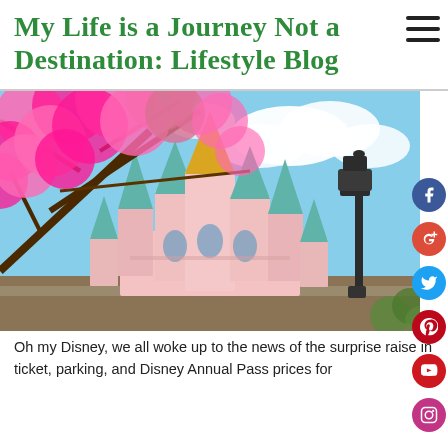My Life is a Journey Not a Destination: Lifestyle Blog
[Figure (photo): Photo of Disneyland castle with pink flowering tree in foreground and blue sky with clouds in background]
Oh my Disney, we all woke up to the news of the surprise raise in ticket, parking, and Disney Annual Pass prices for